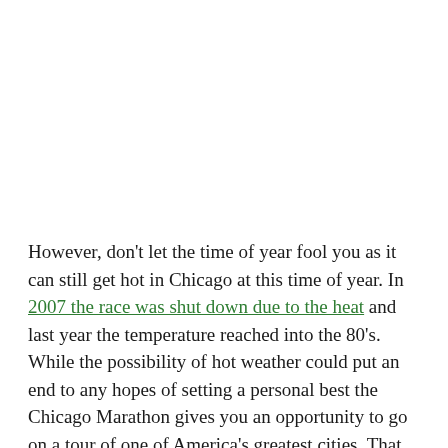However, don't let the time of year fool you as it can still get hot in Chicago at this time of year. In 2007 the race was shut down due to the heat and last year the temperature reached into the 80's.
While the possibility of hot weather could put an end to any hopes of setting a personal best the Chicago Marathon gives you an opportunity to go on a tour of one of America's greatest cities. That reason alone makes it worth having in your sights